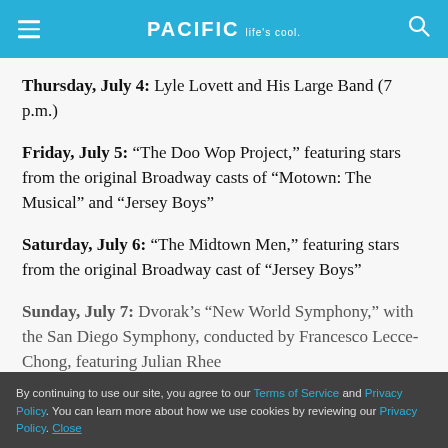PACIFIC Life's cool.
Thursday, July 4: Lyle Lovett and His Large Band (7 p.m.)
Friday, July 5: “The Doo Wop Project,” featuring stars from the original Broadway casts of “Motown: The Musical” and “Jersey Boys”
Saturday, July 6: “The Midtown Men,” featuring stars from the original Broadway cast of “Jersey Boys”
Sunday, July 7: Dvorak’s “New World Symphony,” with the San Diego Symphony, conducted by Francesco Lecce-Chong, featuring Julian Rhee
By continuing to use our site, you agree to our Terms of Service and Privacy Policy. You can learn more about how we use cookies by reviewing our Privacy Policy. Close